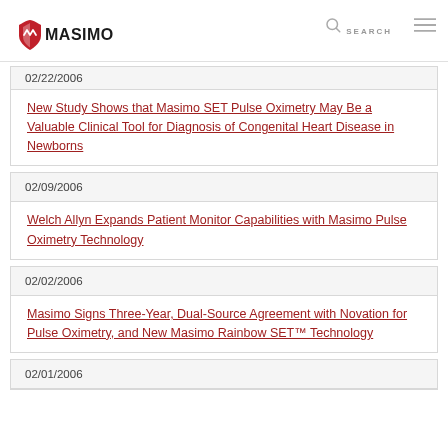Masimo
02/22/2006
New Study Shows that Masimo SET Pulse Oximetry May Be a Valuable Clinical Tool for Diagnosis of Congenital Heart Disease in Newborns
02/09/2006
Welch Allyn Expands Patient Monitor Capabilities with Masimo Pulse Oximetry Technology
02/02/2006
Masimo Signs Three-Year, Dual-Source Agreement with Novation for Pulse Oximetry, and New Masimo Rainbow SET™ Technology
02/01/2006